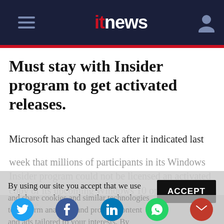itnews
Must stay with Insider program to get activated releases.
Microsoft has changed tack after it indicated last week that millions of participants in its Windows Insider program could not be licensed an activated copy of its upcoming Windows 10 operating system for free.
By using our site you accept that we use and share cookies and similar technologies to perform analytics and provide content and ads tailored to your interests. By continuing to use our site, you consent to this. Please see our Cookie Policy for more information.